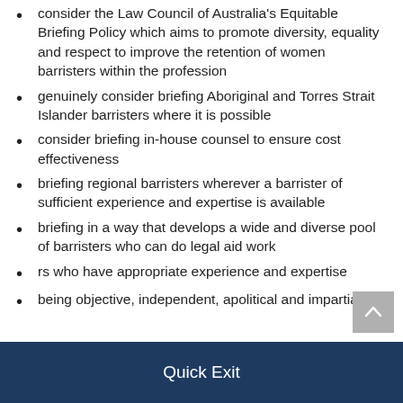consider the Law Council of Australia's Equitable Briefing Policy which aims to promote diversity, equality and respect to improve the retention of women barristers within the profession
genuinely consider briefing Aboriginal and Torres Strait Islander barristers where it is possible
consider briefing in-house counsel to ensure cost effectiveness
briefing regional barristers wherever a barrister of sufficient experience and expertise is available
briefing in a way that develops a wide and diverse pool of barristers who can do legal aid work
rs who have appropriate experience and expertise
being objective, independent, apolitical and impartial.
Quick Exit